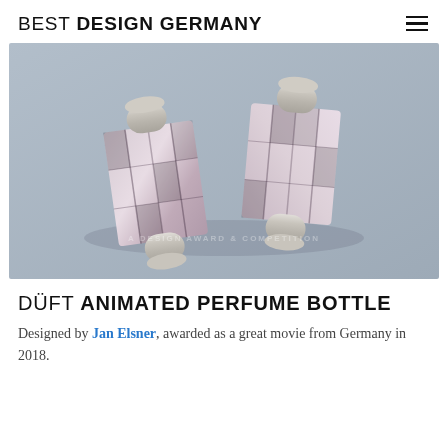BEST DESIGN GERMANY
[Figure (photo): Overhead view of Düft animated perfume bottles with faceted crystal-like bodies and silver metal caps on a grey-blue background, with a faint watermark reading A DESIGN AWARD & COMPETITION]
DÜFT ANIMATED PERFUME BOTTLE
Designed by Jan Elsner, awarded as a great movie from Germany in 2018.